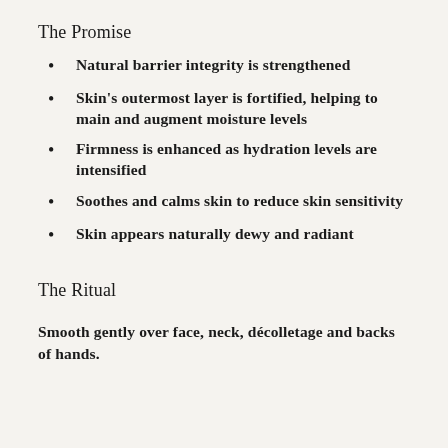The Promise
Natural barrier integrity is strengthened
Skin's outermost layer is fortified, helping to main and augment moisture levels
Firmness is enhanced as hydration levels are intensified
Soothes and calms skin to reduce skin sensitivity
Skin appears naturally dewy and radiant
The Ritual
Smooth gently over face, neck, décolletage and backs of hands.